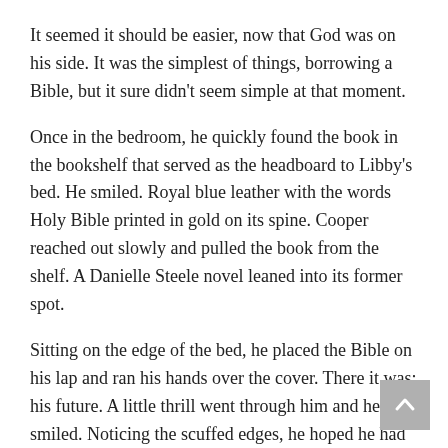It seemed it should be easier, now that God was on his side. It was the simplest of things, borrowing a Bible, but it sure didn't seem simple at that moment.
Once in the bedroom, he quickly found the book in the bookshelf that served as the headboard to Libby's bed. He smiled. Royal blue leather with the words Holy Bible printed in gold on its spine. Cooper reached out slowly and pulled the book from the shelf. A Danielle Steele novel leaned into its former spot.
Sitting on the edge of the bed, he placed the Bible on his lap and ran his hands over the cover. There it was: his future. A little thrill went through him and he smiled. Noticing the scuffed edges, he hoped he had not been the one to put them there when the book had slid to a stop against the door.